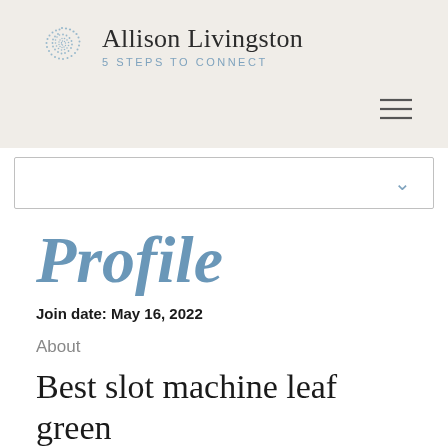Allison Livingston 5 STEPS TO CONNECT
[Figure (other): Dropdown selector bar with chevron]
Profile
Join date: May 16, 2022
About
Best slot machine leaf green